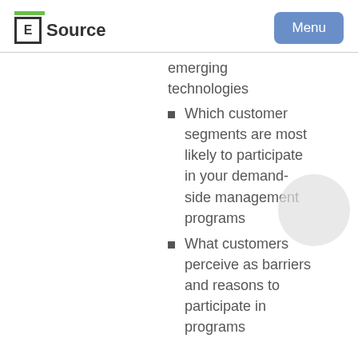E Source | Menu
emerging technologies
Which customer segments are most likely to participate in your demand-side management programs
What customers perceive as barriers and reasons to participate in programs